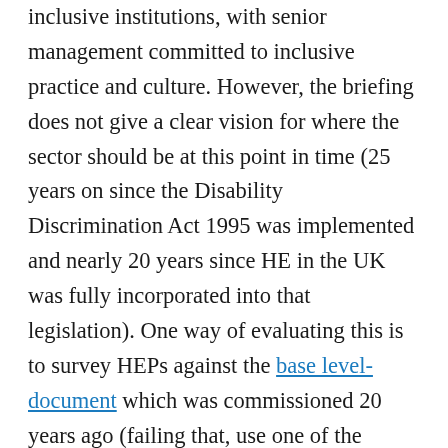inclusive institutions, with senior management committed to inclusive practice and culture. However, the briefing does not give a clear vision for where the sector should be at this point in time (25 years on since the Disability Discrimination Act 1995 was implemented and nearly 20 years since HE in the UK was fully incorporated into that legislation). One way of evaluating this is to survey HEPs against the base level-document which was commissioned 20 years ago (failing that, use one of the previous Quality Assurance Agency's code of practice). Instead of analysing access statements into which disability offices and disabled students often have very little input, the OfS should make it a requirement that, in the first instance HEPs ensure they have...